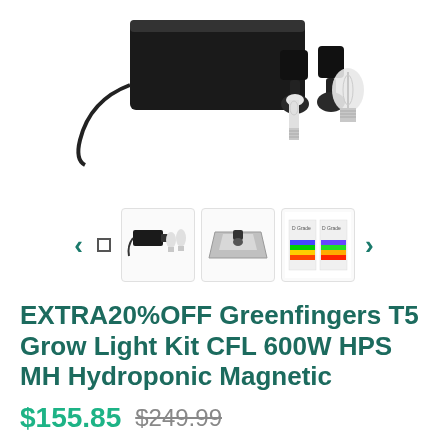[Figure (photo): Product photo of Greenfingers T5 Grow Light Kit showing a black ballast/controller unit with two light sockets and two bulbs (HPS and MH) on white background]
[Figure (photo): Thumbnail navigation row with left arrow, square dot indicator, three product thumbnails (full kit, reflector hood, spectrum chart), and right arrow]
EXTRA20%OFF Greenfingers T5 Grow Light Kit CFL 600W HPS MH Hydroponic Magnetic
$155.85  $249.99